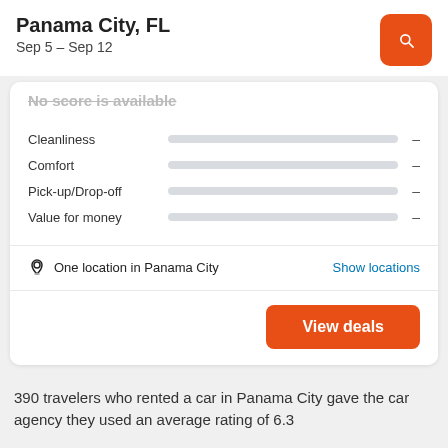Panama City, FL
Sep 5 – Sep 12
No score is available
Cleanliness -
Comfort -
Pick-up/Drop-off -
Value for money -
One location in Panama City
Show locations
View deals
390 travelers who rented a car in Panama City gave the car agency they used an average rating of 6.3